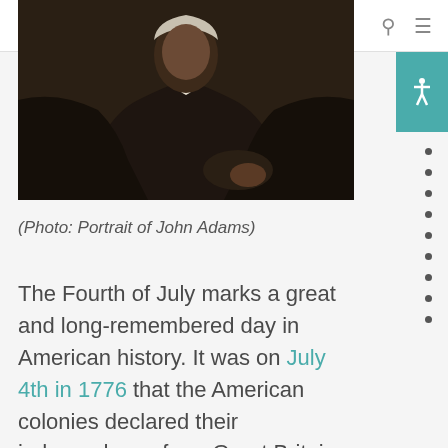FB FUNERALBASICS
[Figure (photo): Portrait painting of John Adams, a dark formal oil portrait showing a man in dark clothing against a dark background with white collar/cravat visible]
(Photo: Portrait of John Adams)
The Fourth of July marks a great and long-remembered day in American history. It was on July 4th in 1776 that the American colonies declared their independence from Great Britain and became an independent nation. In